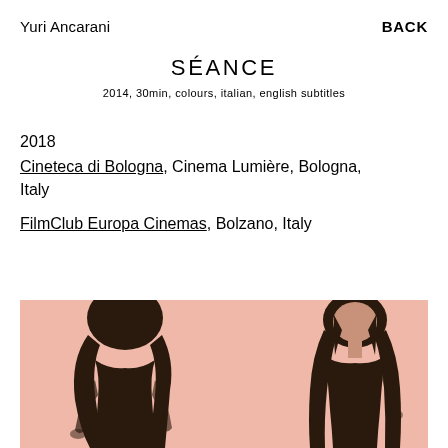Yuri Ancarani
BACK
SÉANCE
2014, 30min, colours, italian, english subtitles
2018
Cineteca di Bologna, Cinema Lumière, Bologna, Italy
FilmClub Europa Cinemas, Bolzano, Italy
[Figure (photo): Two female figures against a salmon/pink background. Left figure shown from behind with dark hair cascading down. Right figure shown from front with long dark hair, standing.]